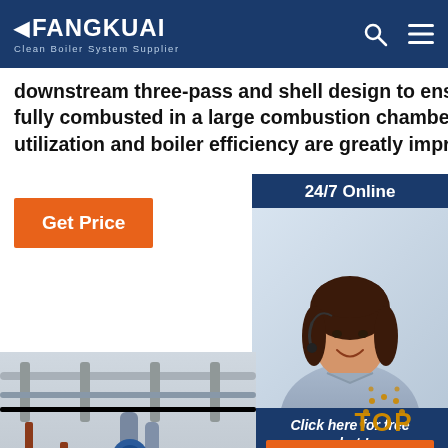FANGKUAI Clean Boiler System Supplier
downstream three-pass and shell design to ensure that the fuel is fully combusted in a large combustion chamber and fuel utilization and boiler efficiency are greatly improved.
Get Price
24/7 Online
[Figure (photo): Customer service representative woman with headset smiling]
Click here for free chat !
QUOTATION
[Figure (photo): Industrial boiler system with pipes and equipment in a factory setting with FANGKUAI branded boiler visible]
TOP